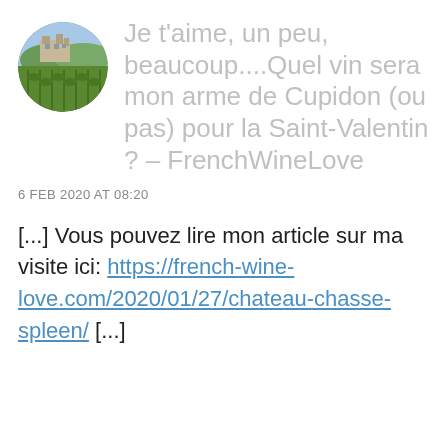[Figure (photo): Circular avatar image showing a vineyard landscape with a château or stone building in the background and green vines in the foreground.]
Je t'aime, un peu, beaucoup....Quel vin sera mon arme de Cupidon (ou pas) pour la Saint-Valentin ? – FrenchWineLove
6 FEB 2020 AT 08:20
[...] Vous pouvez lire mon article sur ma visite ici: https://french-wine-love.com/2020/01/27/chateau-chasse-spleen/ [...]